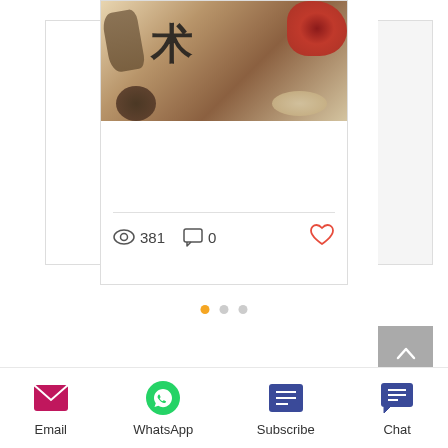[Figure (photo): Screenshot of a mobile/web article card featuring a photo of Chinese herbal medicine ingredients with Chinese calligraphy text '术', showing view count 381, comment count 0, and a heart/like button]
381
0
[Figure (other): Carousel pagination dots: one orange active dot and two grey inactive dots]
[Figure (other): Back to top button (grey square with upward chevron arrow)]
[Figure (other): Bottom navigation bar with Email, WhatsApp, Subscribe, and Chat icons and labels]